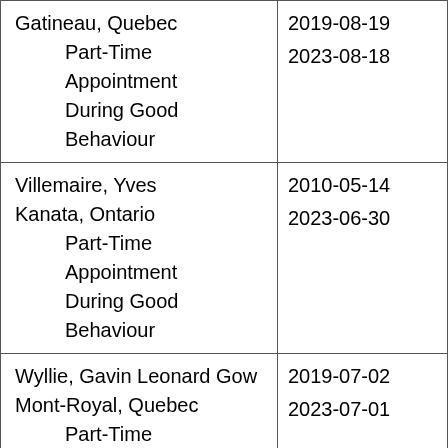| Name / Location / Appointment Type | Dates |
| --- | --- |
| Gatineau, Quebec
Part-Time Appointment
During Good Behaviour | 2019-08-19
2023-08-18 |
| Villemaire, Yves
Kanata, Ontario
Part-Time Appointment
During Good Behaviour | 2010-05-14
2023-06-30 |
| Wyllie, Gavin Leonard Gow
Mont-Royal, Quebec
Part-Time Appointment
During Good Behaviour | 2019-07-02
2023-07-01 |
| 3 Vacant Positions |  |